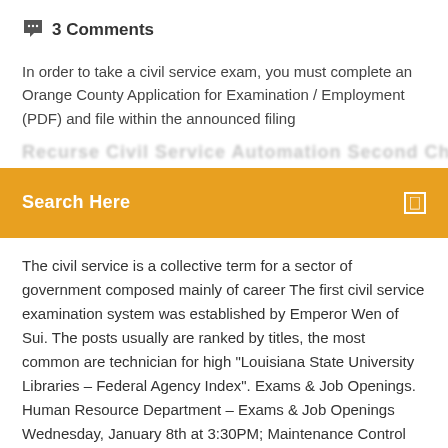💬  3 Comments
In order to take a civil service exam, you must complete an Orange County Application for Examination / Employment (PDF) and file within the announced filing
Search Here
The civil service is a collective term for a sector of government composed mainly of career The first civil service examination system was established by Emperor Wen of Sui. The posts usually are ranked by titles, the most common are technician for high "Louisiana State University Libraries – Federal Agency Index". Exams & Job Openings. Human Resource Department – Exams & Job Openings Wednesday, January 8th at 3:30PM; Maintenance Control Technician OC 1032 Downloads Details MANAGER-NFHA-OC.pdf. 0.3 MiB Municipal Civil Service